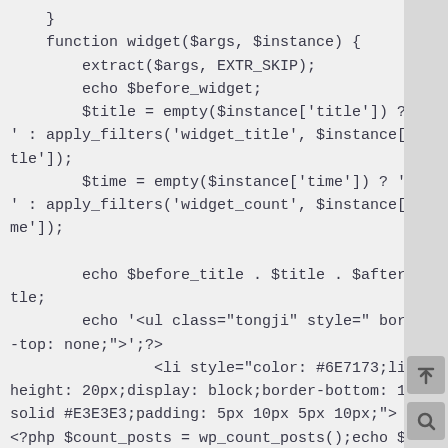}
    function widget($args, $instance) {
        extract($args, EXTR_SKIP);
        echo $before_widget;
        $title = empty($instance['title']) ? '   ' : apply_filters('widget_title', $instance['title']);
        $time = empty($instance['time']) ? '   ' : apply_filters('widget_count', $instance['time']);

        echo $before_title . $title . $after_title;
        echo '<ul class="tongji" style=" border-top: none;">'; ?>
            <li style="color: #6E7173;line-height: 20px;display: block;border-bottom: 1px solid #E3E3E3;padding: 5px 10px 5px 10px;">     <?php $count_posts = wp_count_posts();echo $published_posts = $count_posts->publish;?> </li>